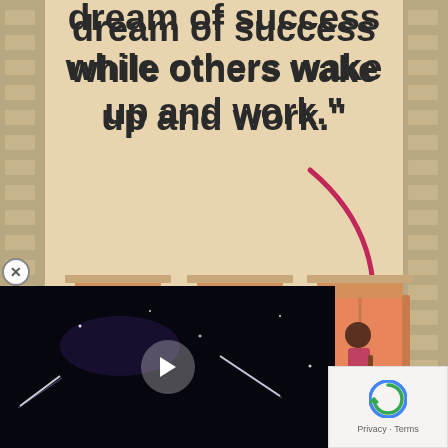[Figure (illustration): Motivational infographic showing an apartment building facade with brick border. Top text quote about dreaming of success while others wake up and work. Three apartment windows visible with illustrated characters: left window shows person smoking, middle window shows person working on laptop, right window shows person playing guitar. A pink arrow curves from top pointing to middle (working) window. Below, another window shows a person seated. Brick border frames the entire composition on left and right sides.]
dream of success while others wake up and work."
[Figure (screenshot): Video thumbnail showing dark night sky with light streaks, with a play button overlay]
Privacy · Terms